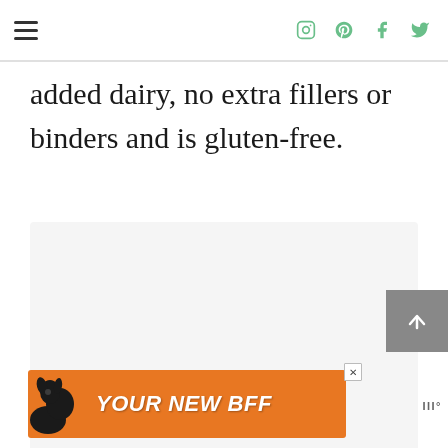Navigation menu and social icons (Instagram, Pinterest, Facebook, Twitter)
added dairy, no extra fillers or binders and is gluten-free.
[Figure (other): Large light gray content placeholder box]
[Figure (other): Advertisement banner with orange background showing a black dog and text 'YOUR NEW BFF' with a close button and logo]